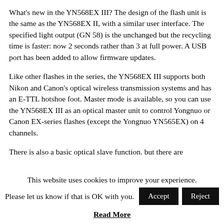What's new in the YN568EX III? The design of the flash unit is the same as the YN568EX II, with a similar user interface. The specified light output (GN 58) is the unchanged but the recycling time is faster: now 2 seconds rather than 3 at full power. A USB port has been added to allow firmware updates.
Like other flashes in the series, the YN568EX III supports both Nikon and Canon's optical wireless transmission systems and has an E-TTL hotshoe foot. Master mode is available, so you can use the YN568EX III as an optical master unit to control Yongnuo or Canon EX-series flashes (except the Yongnuo YN565EX) on 4 channels.
There is also a basic optical slave function. but there are
This website uses cookies to improve your experience.
Please let us know if that is OK with you.
Read More